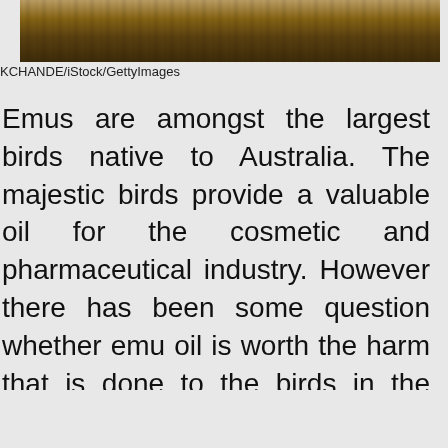[Figure (photo): Partial photo of a wooden surface with a yellow/orange object visible at top, cropped at the top of the page]
KCHANDE/iStock/GettyImages
Emus are amongst the largest birds native to Australia. The majestic birds provide a valuable oil for the cosmetic and pharmaceutical industry. However there has been some question whether emu oil is worth the harm that is done to the birds in the process of extracting the oil from their bodies.